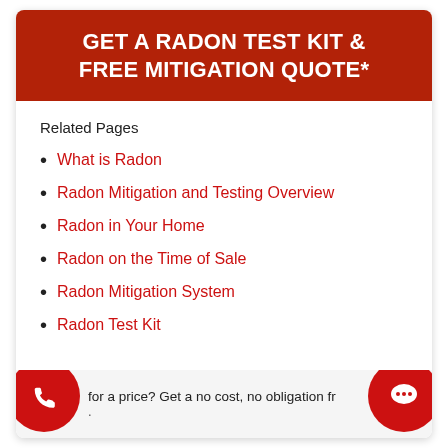GET A RADON TEST KIT & FREE MITIGATION QUOTE*
Related Pages
What is Radon
Radon Mitigation and Testing Overview
Radon in Your Home
Radon on the Time of Sale
Radon Mitigation System
Radon Test Kit
for a price? Get a no cost, no obligation fr